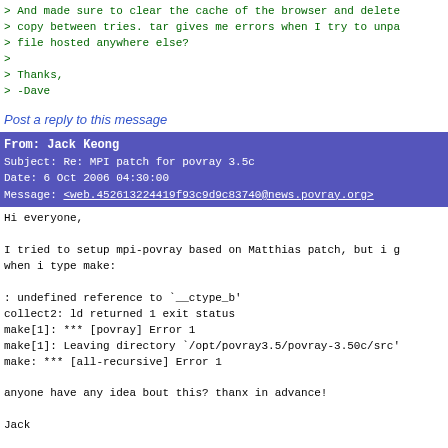> And made sure to clear the cache of the browser and delete
> copy between tries. tar gives me errors when I try to unpa
> file hosted anywhere else?
>
> Thanks,
> -Dave
Post a reply to this message
From: Jack Keong
Subject: Re: MPI patch for povray 3.5c
Date: 6 Oct 2006 04:30:00
Message: <web.452613224419f93c9d9c83740@news.povray.org>
Hi everyone,

I tried to setup mpi-povray based on Matthias patch, but i g
when i type make:

: undefined reference to `__ctype_b'
collect2: ld returned 1 exit status
make[1]: *** [povray] Error 1
make[1]: Leaving directory `/opt/povray3.5/povray-3.50c/src'
make: *** [all-recursive] Error 1

anyone have any idea bout this? thanx in advance!

Jack

"djzielin" <djz### [at] duke.edu> wrote:
> ah...I used wget to download the file, and I am able to un
>